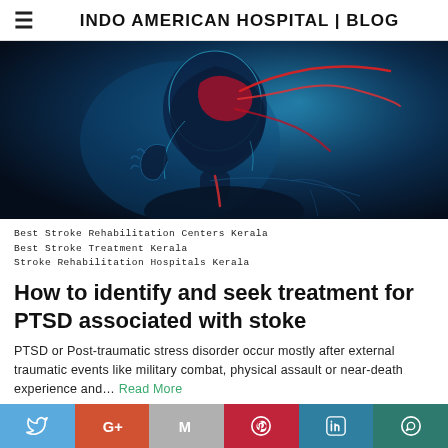INDO AMERICAN HOSPITAL | BLOG
[Figure (illustration): Medical illustration of a human figure in profile (blue X-ray style) with red highlighted brain and neural pathways, suggesting stroke or neurological event. Person is holding their head.]
Best Stroke Rehabilitation Centers Kerala
Best Stroke Treatment Kerala
Stroke Rehabilitation Hospitals Kerala
How to identify and seek treatment for PTSD associated with stoke
PTSD or Post-traumatic stress disorder occur mostly after external traumatic events like military combat, physical assault or near-death experience and… Read More